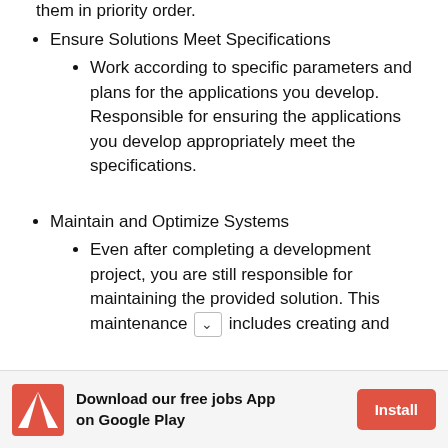them in priority order.
Ensure Solutions Meet Specifications
Work according to specific parameters and plans for the applications you develop. Responsible for ensuring the applications you develop appropriately meet the specifications.
Maintain and Optimize Systems
Even after completing a development project, you are still responsible for maintaining the provided solution. This maintenance includes creating and
[Figure (infographic): Advertisement bar at bottom: Adobe logo (red A triangle), text 'Download our free jobs App on Google Play', and red 'Install' button]